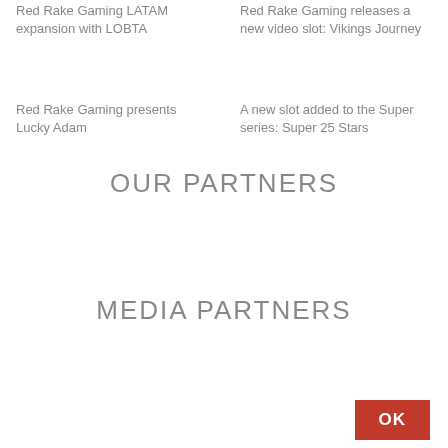Red Rake Gaming LATAM expansion with LOBTA
Red Rake Gaming releases a new video slot: Vikings Journey
Red Rake Gaming presents Lucky Adam
A new slot added to the Super series: Super 25 Stars
OUR PARTNERS
MEDIA PARTNERS